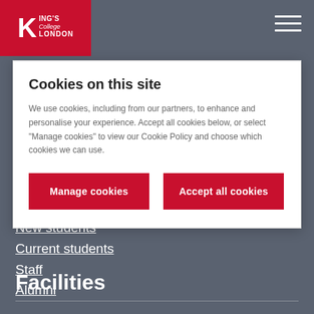King's College London
Cookies on this site
We use cookies, including from our partners, to enhance and personalise your experience. Accept all cookies below, or select “Manage cookies” to view our Cookie Policy and choose which cookies we can use.
New students
Current students
Staff
Alumni
Facilities